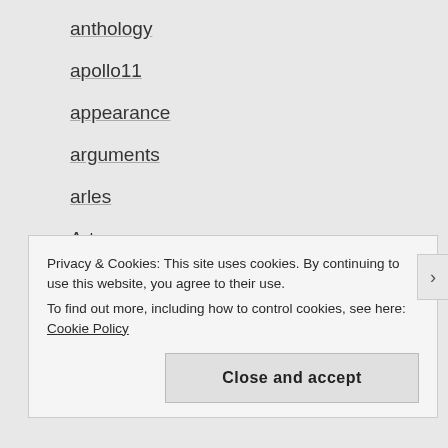anthology
apollo11
appearance
arguments
arles
Art
astrology
atlantic city
autism
autumn
Privacy & Cookies: This site uses cookies. By continuing to use this website, you agree to their use.
To find out more, including how to control cookies, see here: Cookie Policy
Close and accept